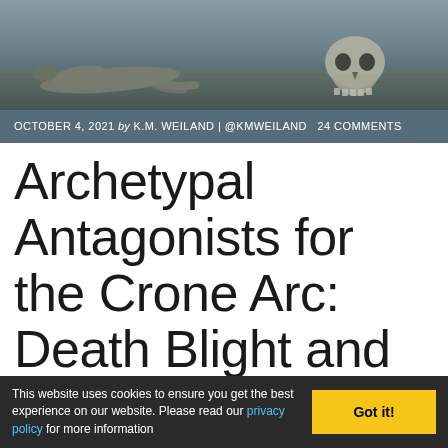[Figure (photo): Dark atmospheric photo with a skull and a prone figure lying on the ground, moody lighting]
OCTOBER 4, 2021 by K.M. WEILAND | @KMWEILAND 24 COMMENTS
Archetypal Antagonists for the Crone Arc: Death Blight and Tempter
As the fifth of six archetypal character arcs in the life cycle, the Crone Arc offers the first great
This website uses cookies to ensure you get the best experience on our website. Please read our privacy policy for more information